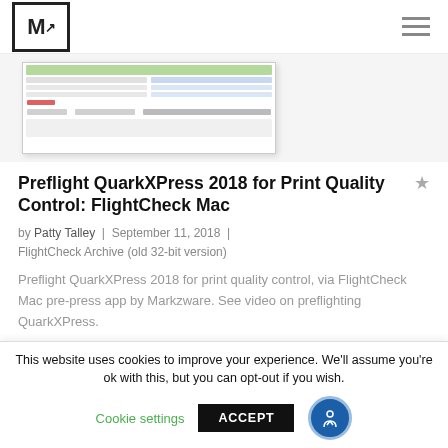Markzware logo and navigation
[Figure (screenshot): Screenshot of FlightCheck Mac application dialog showing QuarkXPress preflight interface with rows of file data and a preview area]
Preflight QuarkXPress 2018 for Print Quality Control: FlightCheck Mac
by Patty Talley | September 11, 2018 | FlightCheck Archive (old 32-bit version)
Preflight QuarkXPress 2018 for print quality control, via FlightCheck Mac pre-press app by Markzware. See video on preflighting QuarkXPress.
READ MORE >
This website uses cookies to improve your experience. We'll assume you're ok with this, but you can opt-out if you wish.
Cookie settings  ACCEPT